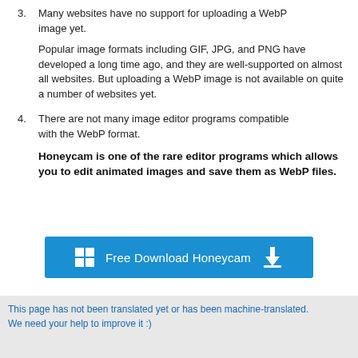3. Many websites have no support for uploading a WebP image yet.
Popular image formats including GIF, JPG, and PNG have developed a long time ago, and they are well-supported on almost all websites. But uploading a WebP image is not available on quite a number of websites yet.
4. There are not many image editor programs compatible with the WebP format.
Honeycam is one of the rare editor programs which allows you to edit animated images and save them as WebP files.
[Figure (other): Blue download button with Windows icon and download arrow icon, labeled 'Free Download Honeycam']
This page has not been translated yet or has been machine-translated. We need your help to improve it :)